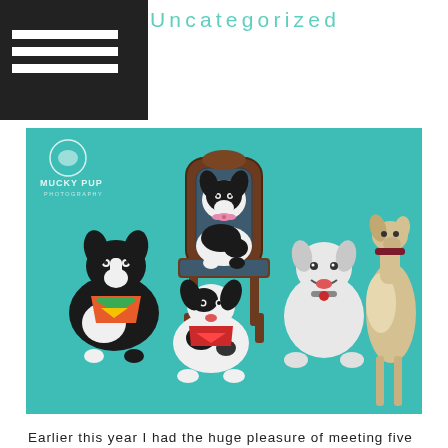Uncategorized
[Figure (photo): Five dogs posed together in a professional studio setting against a teal/turquoise background. A black and white puppy sits on an antique dark blue velvet chair in the center. To the left sits a black and white border collie wearing a colorful bandana. Below the chair sits another black and white spotted dog wearing a red bandana. To the right stands a white dog smiling and a tall greyhound/whippet-type dog with a collar. The photo has a Mucky Pup Photography watermark logo in the top left corner.]
Earlier this year I had the huge pleasure of meeting five amazing dogs and photographing them in